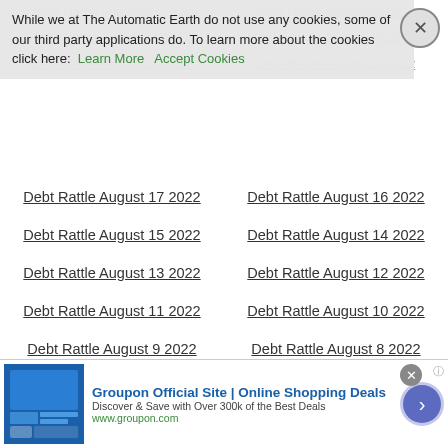While we at The Automatic Earth do not use any cookies, some of our third party applications do. To learn more about the cookies click here: Learn More   Accept Cookies
Debt Rattle August 17 2022
Debt Rattle August 16 2022
Debt Rattle August 15 2022
Debt Rattle August 14 2022
Debt Rattle August 13 2022
Debt Rattle August 12 2022
Debt Rattle August 11 2022
Debt Rattle August 10 2022
Debt Rattle August 9 2022
Debt Rattle August 8 2022
Debt Rattle August 7 2022
A Winter of Anger
Debt Rattle August 6 2022
Debt Rattle August 5 2022
Debt Rattle August 4 2022
Debt Rattle August 3 2022
Debt Rattle August 2 2022
Theater Opening
Debt Rattle August 1 2022
Debt Rattle July 31 2022
[Figure (screenshot): Groupon advertisement banner: Groupon Official Site | Online Shopping Deals. Discover & Save with Over 300k of the Best Deals. www.groupon.com]